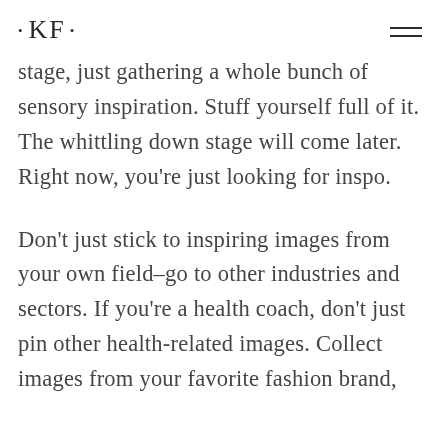• KF •
stage, just gathering a whole bunch of sensory inspiration. Stuff yourself full of it. The whittling down stage will come later. Right now, you're just looking for inspo.
Don't just stick to inspiring images from your own field–go to other industries and sectors. If you're a health coach, don't just pin other health-related images. Collect images from your favorite fashion brand,